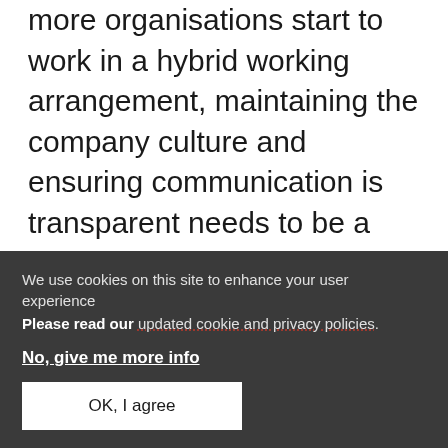more organisations start to work in a hybrid working arrangement, maintaining the company culture and ensuring communication is transparent needs to be a key consideration for employers. Remind your team that every employee – whether they are in the office or at home – has a role to play in sustaining the company's culture for the next
We use cookies on this site to enhance your user experience
Please read our updated cookie and privacy policies.

No, give me more info

OK, I agree